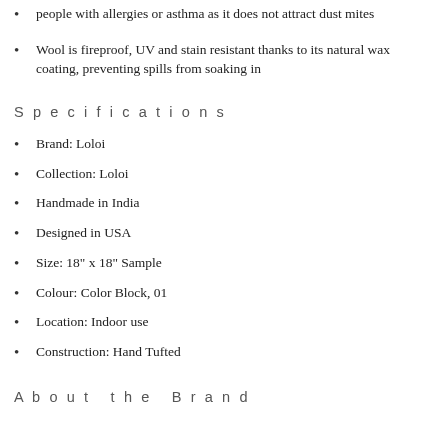people with allergies or asthma as it does not attract dust mites
Wool is fireproof, UV and stain resistant thanks to its natural wax coating, preventing spills from soaking in
Specifications
Brand: Loloi
Collection: Loloi
Handmade in India
Designed in USA
Size: 18" x 18" Sample
Colour: Color Block, 01
Location: Indoor use
Construction: Hand Tufted
About the Brand